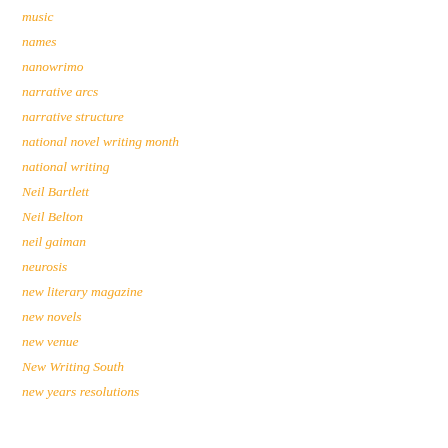music
names
nanowrimo
narrative arcs
narrative structure
national novel writing month
national writing
Neil Bartlett
Neil Belton
neil gaiman
neurosis
new literary magazine
new novels
new venue
New Writing South
new years resolutions